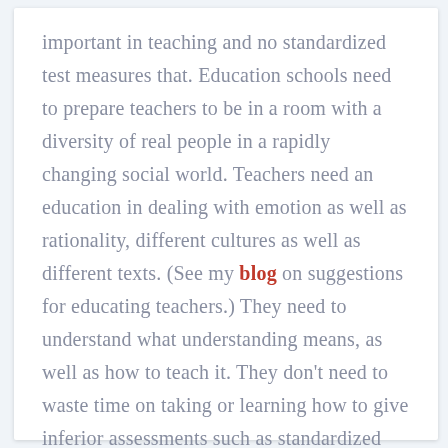important in teaching and no standardized test measures that. Education schools need to prepare teachers to be in a room with a diversity of real people in a rapidly changing social world. Teachers need an education in dealing with emotion as well as rationality, different cultures as well as different texts. (See my blog on suggestions for educating teachers.) They need to understand what understanding means, as well as how to teach it. They don't need to waste time on taking or learning how to give inferior assessments such as standardized tests.